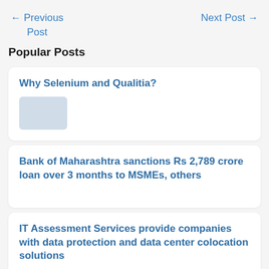← Previous Post
Next Post →
Popular Posts
Why Selenium and Qualitia?
Bank of Maharashtra sanctions Rs 2,789 crore loan over 3 months to MSMEs, others
IT Assessment Services provide companies with data protection and data center colocation solutions